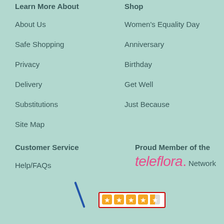Learn More About
Shop
About Us
Women's Equality Day
Safe Shopping
Anniversary
Privacy
Birthday
Delivery
Get Well
Substitutions
Just Because
Site Map
Customer Service
Proud Member of the teleflora. Network
Help/FAQs
[Figure (other): Yelp rating widget showing approximately 4.5 stars in a red-bordered box]